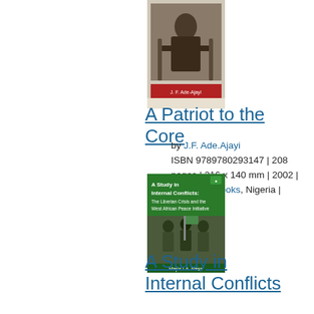[Figure (photo): Book cover of 'A Patriot to the Core' by J.F. Ade.Ajayi, showing a black and white portrait photo of a seated man, with the author name on a red label at the bottom]
A Patriot to the Core
by J.F. Ade.Ajayi
ISBN 9789780293147 | 208 pages | 216 x 140 mm | 2002 | Spectrum Books, Nigeria | Paperback
[Figure (photo): Book cover of 'A Study in Internal Conflicts: The Liberian Crisis and the West African Peace Initiative' by Major I.A. Nass, showing armed soldiers on the cover with green background for the title text]
A Study in Internal Conflicts
The Liberian Crisis & the West African Peace Initiative
by I A Nass
ISBN 9789781564550 | 364 pages | 234 x 156 mm | B/W